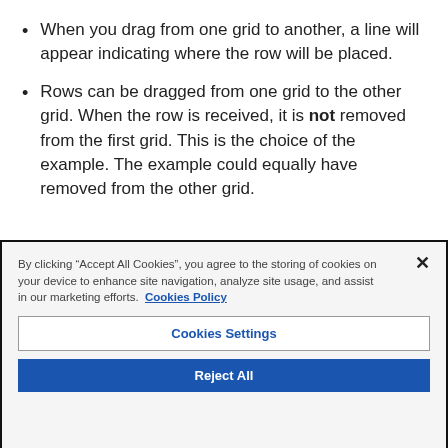When you drag from one grid to another, a line will appear indicating where the row will be placed.
Rows can be dragged from one grid to the other grid. When the row is received, it is not removed from the first grid. This is the choice of the example. The example could equally have removed from the other grid.
By clicking “Accept All Cookies”, you agree to the storing of cookies on your device to enhance site navigation, analyze site usage, and assist in our marketing efforts. Cookies Policy
Cookies Settings
Reject All